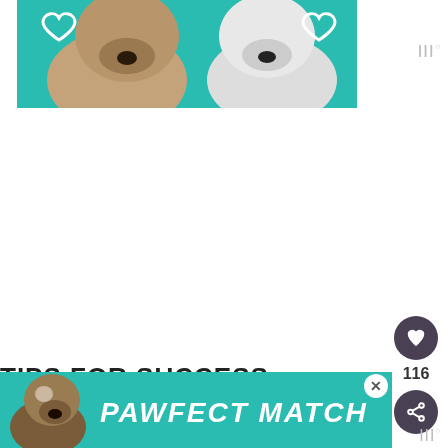[Figure (photo): Teal/turquoise banner showing two dogs (a tan/brown dog on the left and a grey/white dog on the right) with white outlined heart shapes on either side, on a teal background.]
116
TIPS FOR SUCCESS
[Figure (infographic): Advertisement banner with teal background showing a small spotted/white dog on the left and bold white italic text reading 'PAWFECT MATCH' with a close button (X) in the upper right corner.]